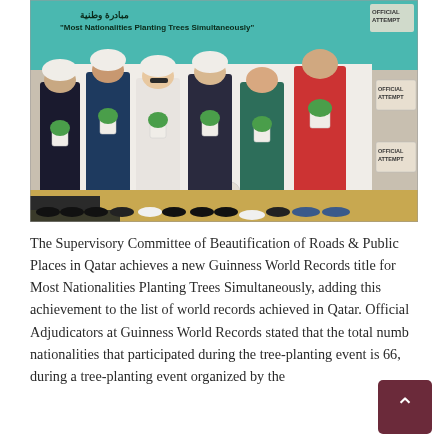[Figure (photo): Group of six people standing in a line outdoors, each holding a small potted tree/plant. They are in front of a white backdrop with 'Official Attempt' Guinness World Records signage. A teal/turquoise banner behind them reads 'Most Nationalities Planting Trees Simultaneously' in Arabic and English. People wear various outfits including hard hats, casual and formal clothes. A yellow kerb is visible at the bottom.]
The Supervisory Committee of Beautification of Roads & Public Places in Qatar achieves a new Guinness World Records title for Most Nationalities Planting Trees Simultaneously, adding this achievement to the list of world records achieved in Qatar. Official Adjudicators at Guinness World Records stated that the total numb nationalities that participated during the tree-planting event is 66, during a tree-planting event organized by the